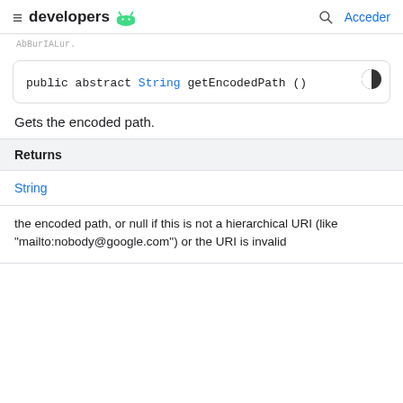developers  [android logo]  [search]  Acceder
AbBurIALur.
public abstract String getEncodedPath ()
Gets the encoded path.
| Returns |
| --- |
| String |
| the encoded path, or null if this is not a hierarchical URI (like "mailto:nobody@google.com") or the URI is invalid |
the encoded path, or null if this is not a hierarchical URI (like "mailto:nobody@google.com") or the URI is invalid